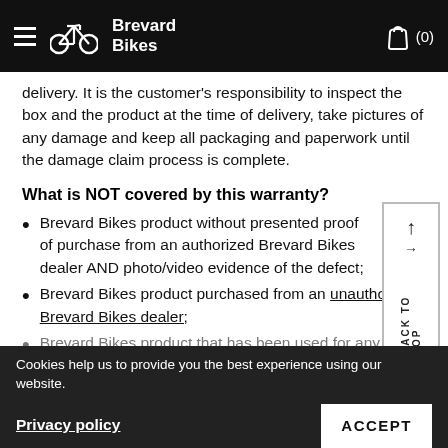Brevard Bikes
delivery. It is the customer's responsibility to inspect the box and the product at the time of delivery, take pictures of any damage and keep all packaging and paperwork until the damage claim process is complete.
What is NOT covered by this warranty?
Brevard Bikes product without presented proof of purchase from an authorized Brevard Bikes dealer AND photo/video evidence of the defect;
Brevard Bikes product purchased from an unauthorized Brevard Bikes dealer;
Brevard Bikes product that has been used for any purposes other than for which it was originally intended, in a manner inconsistent with the product instructions for use and/or industry standards, or used in competition or for any commercial purpose;
Brevard Bikes product that has been modified without Brevard Bikes' prior written consent;
normal wear and tear (scrapes, scratches, etc.)